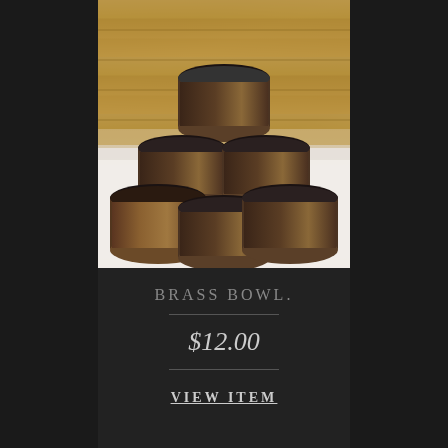[Figure (photo): Multiple dark bronze/brass cylindrical bowls stacked in a pyramid arrangement on a white fur surface against a rustic wooden plank background]
BRASS BOWL.
$12.00
VIEW ITEM